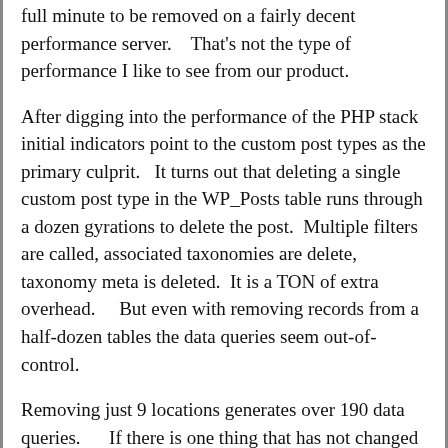full minute to be removed on a fairly decent performance server.    That's not the type of performance I like to see from our product.
After digging into the performance of the PHP stack initial indicators point to the custom post types as the primary culprit.   It turns out that deleting a single custom post type in the WP_Posts table runs through a dozen gyrations to delete the post.  Multiple filters are called, associated taxonomies are delete, taxonomy meta is deleted.  It is a TON of extra overhead.     But even with removing records from a half-dozen tables the data queries seem out-of-control.
Removing just 9 locations generates over 190 data queries.      If there is one thing that has not changed in decades of writing software it is that data queries are costly.  They may run on solid-state drives with advanced